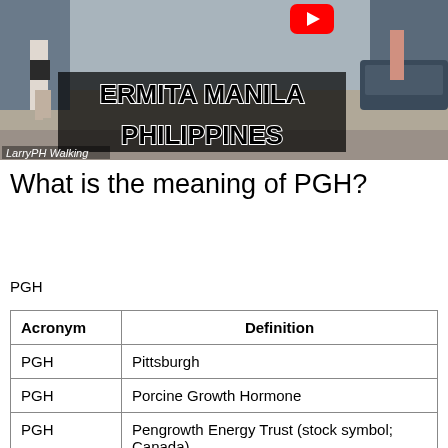[Figure (screenshot): YouTube video thumbnail showing a street scene in Ermita Manila Philippines with text overlay 'ERMITA MANILA PHILIPPINES' and channel tag 'LarryPH Walking'. A YouTube logo is visible in the top right area.]
What is the meaning of PGH?
PGH
| Acronym | Definition |
| --- | --- |
| PGH | Pittsburgh |
| PGH | Porcine Growth Hormone |
| PGH | Pengrowth Energy Trust (stock symbol; Canada) |